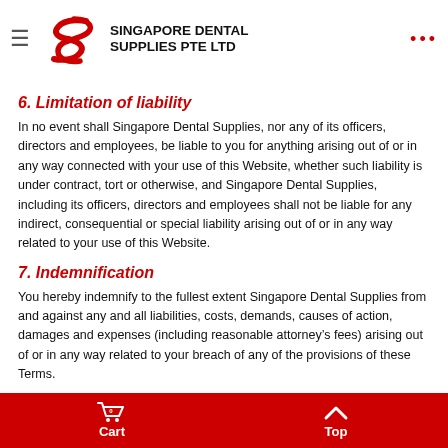Singapore Dental Supplies Pte Ltd
and similar to this website. You should also become familiar with this Website shall make no representations or warranties in respect of and refrain from providing consultation to you.
6. Limitation of liability
In no event shall Singapore Dental Supplies, nor any of its officers, directors and employees, be liable to you for anything arising out of or in any way connected with your use of this Website, whether such liability is under contract, tort or otherwise, and Singapore Dental Supplies, including its officers, directors and employees shall not be liable for any indirect, consequential or special liability arising out of or in any way related to your use of this Website.
7. Indemnification
You hereby indemnify to the fullest extent Singapore Dental Supplies from and against any and all liabilities, costs, demands, causes of action, damages and expenses (including reasonable attorney’s fees) arising out of or in any way related to your breach of any of the provisions of these Terms.
8. Severability
If any provision of these Terms is found to be unenforceable or invalid under
Cart 0   Top